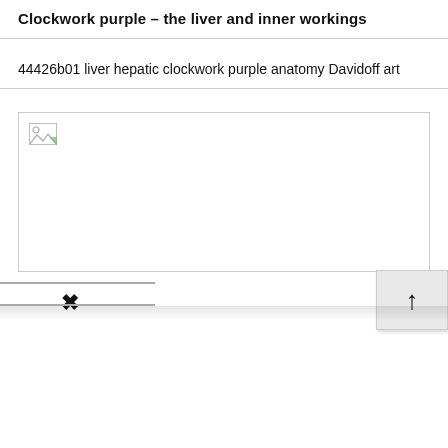Clockwork purple – the liver and inner workings
44426b01 liver hepatic clockwork purple anatomy Davidoff art
[Figure (photo): Placeholder image box with broken image icon in the top-left corner, representing an image of liver/hepatic anatomy artwork.]
[Figure (screenshot): UI navigation controls: an X (close/delete) button on the left and an up-arrow button on the right, with horizontal divider lines above and below.]